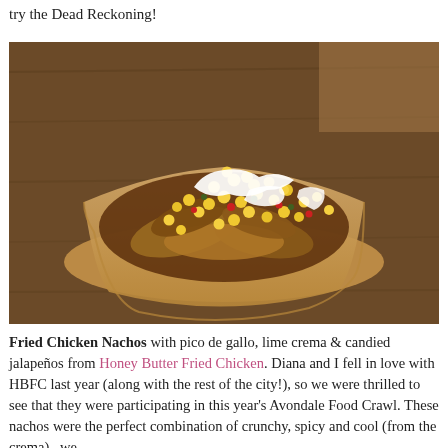try the Dead Reckoning!
[Figure (photo): A paper tray of Fried Chicken Nachos topped with corn salsa, pico de gallo, and lime crema drizzled on top, placed on a wooden surface.]
Fried Chicken Nachos with pico de gallo, lime crema & candied jalapeños from Honey Butter Fried Chicken. Diana and I fell in love with HBFC last year (along with the rest of the city!), so we were thrilled to see that they were participating in this year's Avondale Food Crawl. These nachos were the perfect combination of crunchy, spicy and cool (from the crema)...we